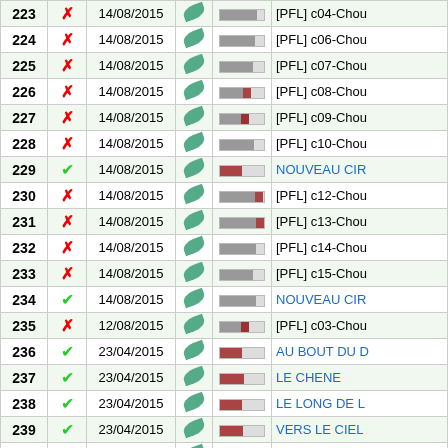| # | Status | Date | Leaf | Bar | Title |
| --- | --- | --- | --- | --- | --- |
| 223 | X | 14/08/2015 | leaf | bar | [PFL] c04-Chou... |
| 224 | X | 14/08/2015 | leaf | bar | [PFL] c06-Chou... |
| 225 | X | 14/08/2015 | leaf | bar | [PFL] c07-Chou... |
| 226 | X | 14/08/2015 | leaf | bar | [PFL] c08-Chou... |
| 227 | X | 14/08/2015 | leaf | bar | [PFL] c09-Chou... |
| 228 | X | 14/08/2015 | leaf | bar | [PFL] c10-Chou... |
| 229 | ✓ | 14/08/2015 | leaf | bar | NOUVEAU CIR... |
| 230 | X | 14/08/2015 | leaf | bar | [PFL] c12-Chou... |
| 231 | X | 14/08/2015 | leaf | bar | [PFL] c13-Chou... |
| 232 | X | 14/08/2015 | leaf | bar | [PFL] c14-Chou... |
| 233 | X | 14/08/2015 | leaf | bar | [PFL] c15-Chou... |
| 234 | ✓ | 14/08/2015 | leaf | bar | NOUVEAU CIR... |
| 235 | X | 12/08/2015 | leaf | bar | [PFL] c03-Chou... |
| 236 | ✓ | 23/04/2015 | leaf | bar | AU BOUT DU D... |
| 237 | ✓ | 23/04/2015 | leaf | bar | LE CHENE |
| 238 | ✓ | 23/04/2015 | leaf | bar | LE LONG DE L... |
| 239 | ✓ | 23/04/2015 | leaf | bar | VERS LE CIEL |
| 240 | ✓ | 23/04/2015 | leaf | bar | LA HAUT |
| 241 | ✓ | 23/04/2015 | leaf | bar | PANPAN |